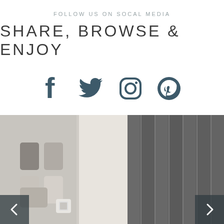FOLLOW US ON SOCAL MEDIA
SHARE, BROWSE & ENJOY
[Figure (infographic): Four social media icons: Facebook, Twitter, Instagram, Pinterest in dark teal color]
[Figure (photo): Interior scene with paint color swatches on a light grey wall on the left, and dark grey vertical paneling on the right, with navigation arrows overlaid at bottom left and right]